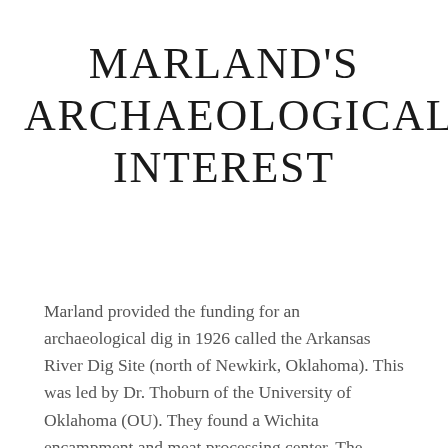MARLAND'S ARCHAEOLOGICAL INTEREST
Marland provided the funding for an archaeological dig in 1926 called the Arkansas River Dig Site (north of Newkirk, Oklahoma). This was led by Dr. Thoburn of the University of Oklahoma (OU). They found a Wichita encampment and meat processing center. The findings were divided into 3 groups and sent to 3 different places: the Chilocco Indian School, the